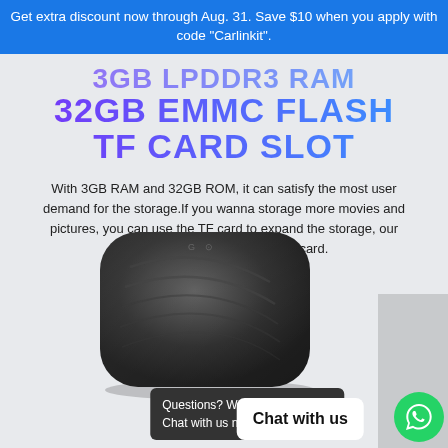Get extra discount now through Aug. 31. Save $10 when you apply with code "Carlinkit".
3GB LPDDR3 RAM 32GB EMMC FLASH TF CARD SLOT
With 3GB RAM and 32GB ROM, it can satisfy the most user demand for the storage.If you wanna storage more movies and pictures, you can use the TF card to expand the storage, our device support max 128GB TF card.
[Figure (photo): Dark charcoal rounded square device (CarlinKit Android box) viewed from above at slight angle, placed on white surface, with gray panel visible on right side of image]
Questions? We can hel
Chat with us now.
Chat with us